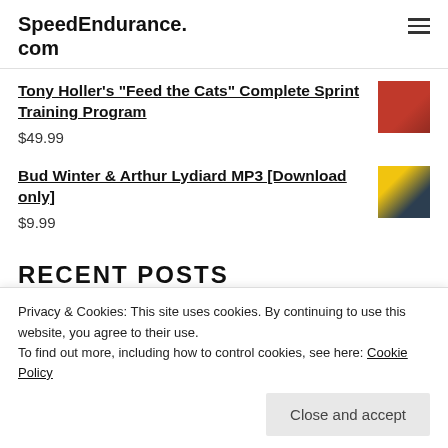SpeedEndurance.com
Tony Holler's "Feed the Cats" Complete Sprint Training Program
$49.99
Bud Winter & Arthur Lydiard MP3 [Download only]
$9.99
RECENT POSTS
Privacy & Cookies: This site uses cookies. By continuing to use this website, you agree to their use.
To find out more, including how to control cookies, see here: Cookie Policy
Close and accept
Olympics